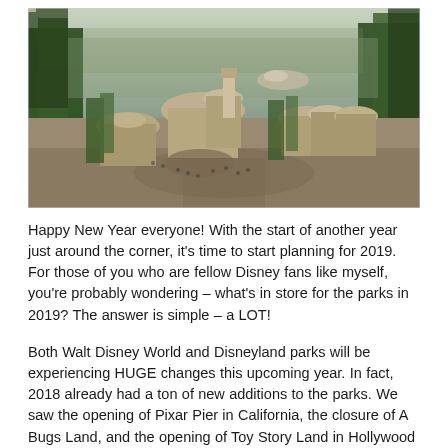[Figure (photo): Aerial view of a Star Wars themed Disney park area showing domed buildings, trees, pathways and visitors, with a hazy sky in the background.]
Happy New Year everyone! With the start of another year just around the corner, it's time to start planning for 2019. For those of you who are fellow Disney fans like myself, you're probably wondering – what's in store for the parks in 2019? The answer is simple – a LOT!
Both Walt Disney World and Disneyland parks will be experiencing HUGE changes this upcoming year. In fact, 2018 already had a ton of new additions to the parks. We saw the opening of Pixar Pier in California, the closure of A Bugs Land, and the opening of Toy Story Land in Hollywood Studios!